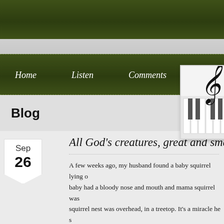Home   Listen   Comments
[Figure (illustration): Music logo: treble clef with piano keys, black and gray illustration on white background]
Blog
Sep 26
All God's creatures, great and sma...
A few weeks ago, my husband found a baby squirrel lying o... baby had a bloody nose and mouth and mama squirrel was... squirrel nest was overhead, in a treetop. It's a miracle he s...